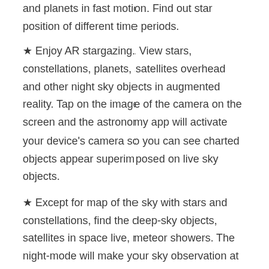and planets in fast motion. Find out star position of different time periods.
★ Enjoy AR stargazing. View stars, constellations, planets, satellites overhead and other night sky objects in augmented reality. Tap on the image of the camera on the screen and the astronomy app will activate your device's camera so you can see charted objects appear superimposed on live sky objects.
★ Except for map of the sky with stars and constellations, find the deep-sky objects, satellites in space live, meteor showers. The night-mode will make your sky observation at night time more comfortable. Stars and constellations are closer than you think.
★ With our star chart app you will get a deeper understanding of the constellation`s scale and place in the night sky map. Enjoy observing wonderful 3D models of constellations, turn them upside down, read their stories and other astronomy facts.